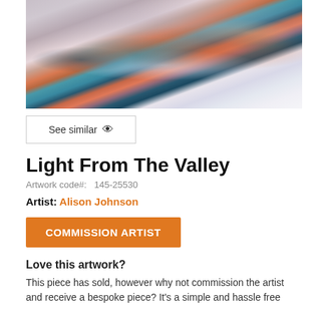[Figure (photo): Abstract landscape painting with swirling colors of orange, teal, dark blue/black, and soft whites/grays, suggesting a dramatic sky or seascape.]
See similar 👁
Light From The Valley
Artwork code#:  145-25530
Artist: Alison Johnson
COMMISSION ARTIST
Love this artwork?
This piece has sold, however why not commission the artist and receive a bespoke piece? It's a simple and hassle free